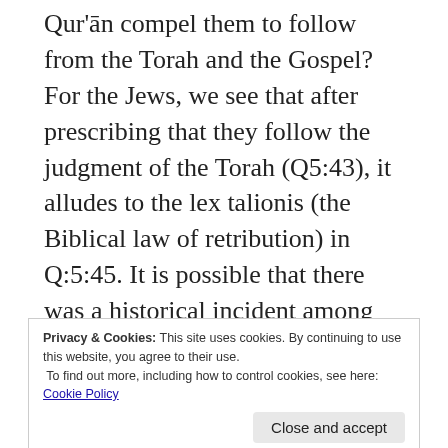Qur'ān compel them to follow from the Torah and the Gospel? For the Jews, we see that after prescribing that they follow the judgment of the Torah (Q5:43), it alludes to the lex talionis (the Biblical law of retribution) in Q:5:45. It is possible that there was a historical incident among the Jewish community where the law was supposed to be implemented, but they were hesitant to apply it, and so went to the Prophet to gain an alternative ruling (Q5:41). The Qur'ān responds to this by stating that it is
Privacy & Cookies: This site uses cookies. By continuing to use this website, you agree to their use.
To find out more, including how to control cookies, see here: Cookie Policy
Close and accept
it encourages the Jews to stick to the same law